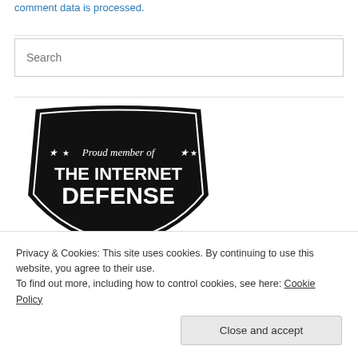comment data is processed.
[Figure (logo): Proud member of THE INTERNET DEFENSE badge — black shield-shaped badge with white text and stars]
Privacy & Cookies: This site uses cookies. By continuing to use this website, you agree to their use.
To find out more, including how to control cookies, see here: Cookie Policy
Close and accept